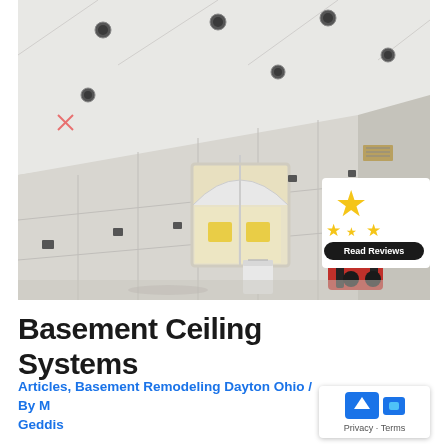[Figure (photo): Interior photo of a room under construction/renovation with drywall installed on walls and ceiling. White drywall panels with joint tape visible, recessed light cutouts in ceiling, arched window in background, red equipment on floor, white bucket visible. A 'Read Reviews' badge with gold stars overlaid in bottom-right corner of photo.]
Basement Ceiling Systems
Articles, Basement Remodeling Dayton Ohio / By M Geddis